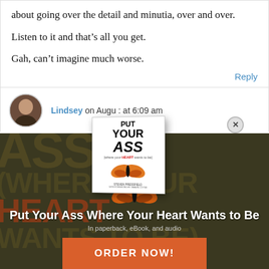about going over the detail and minutia, over and over.
Listen to it and that's all you get.
Gah, can't imagine much worse.
Reply
Lindsey on August [date] at 6:09 am
[Figure (illustration): Book cover for 'Put Your Ass Where Your Heart Wants to Be' showing title text and a butterfly, with a close button]
[Figure (photo): Dark brownish-green background with large faded text and butterfly silhouette]
Put Your Ass Where Your Heart Wants to Be
In paperback, eBook, and audio
ORDER NOW!